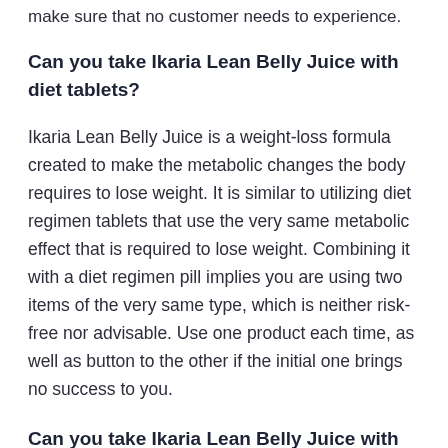make sure that no customer needs to experience.
Can you take Ikaria Lean Belly Juice with diet tablets?
Ikaria Lean Belly Juice is a weight-loss formula created to make the metabolic changes the body requires to lose weight. It is similar to utilizing diet regimen tablets that use the very same metabolic effect that is required to lose weight. Combining it with a diet regimen pill implies you are using two items of the very same type, which is neither risk-free nor advisable. Use one product each time, as well as button to the other if the initial one brings no success to you.
Can you take Ikaria Lean Belly Juice with